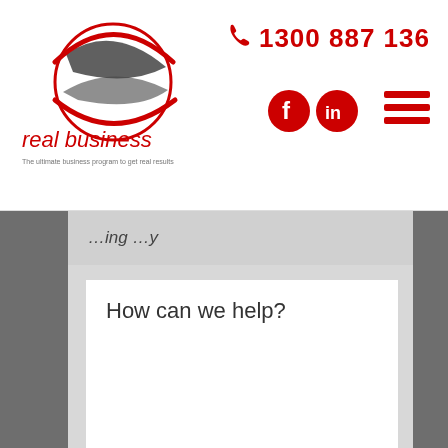[Figure (logo): Real Business logo - circular swoosh graphic in red and dark grey with text 'real business' below and tagline 'The ultimate business program to get real results']
1300 887 136
[Figure (illustration): Facebook and LinkedIn social media icon buttons in red circles, and a hamburger menu icon in red]
How can we help?